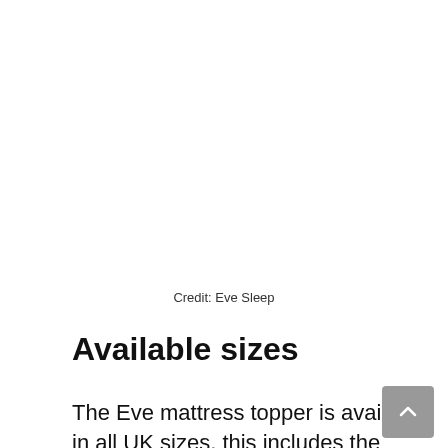Credit: Eve Sleep
Available sizes
The Eve mattress topper is available in all UK sizes, this includes the following: